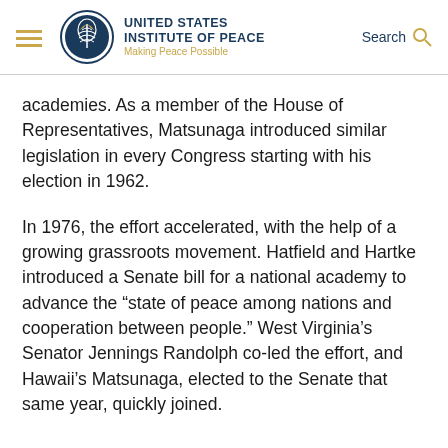United States Institute of Peace — Making Peace Possible — Search
academies. As a member of the House of Representatives, Matsunaga introduced similar legislation in every Congress starting with his election in 1962.
In 1976, the effort accelerated, with the help of a growing grassroots movement. Hatfield and Hartke introduced a Senate bill for a national academy to advance the “state of peace among nations and cooperation between people.” West Virginia’s Senator Jennings Randolph co-led the effort, and Hawaii’s Matsunaga, elected to the Senate that same year, quickly joined.